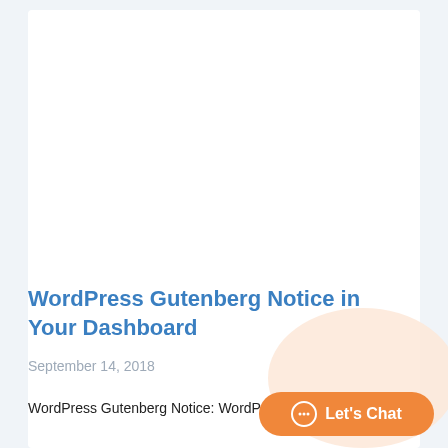WordPress Gutenberg Notice in Your Dashboard
September 14, 2018
WordPress Gutenberg Notice: WordPress is going to add a